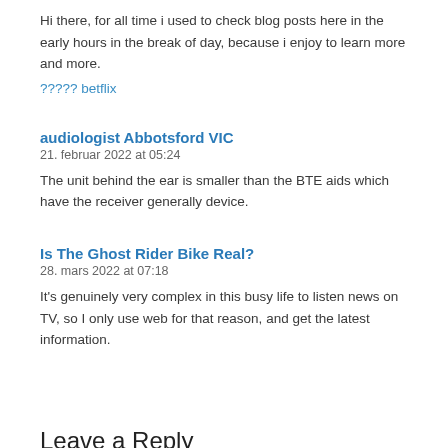Hi there, for all time i used to check blog posts here in the early hours in the break of day, because i enjoy to learn more and more.
????? betflix
audiologist Abbotsford VIC
21. februar 2022 at 05:24
The unit behind the ear is smaller than the BTE aids which have the receiver generally device.
Is The Ghost Rider Bike Real?
28. mars 2022 at 07:18
It's genuinely very complex in this busy life to listen news on TV, so I only use web for that reason, and get the latest information.
Leave a Reply